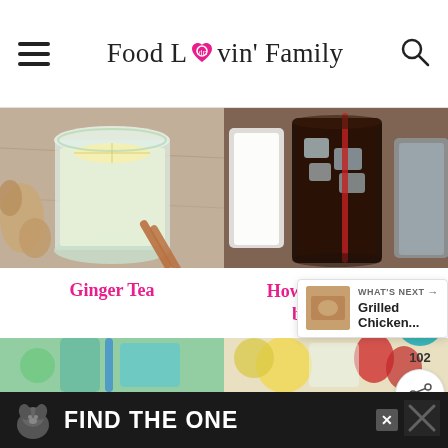Food Lovin' Family
[Figure (photo): Glass of ginger tea with lemon and ginger root and cinnamon sticks on a wooden surface]
Ginger Tea
[Figure (photo): Glass of cold brew coffee with ice and milk on a blurred background]
How to make cold brew coffee
[Figure (photo): Bottom row left: green drink with blue straw]
[Figure (photo): Bottom row right: colorful drinks with fruit]
FIND THE ONE